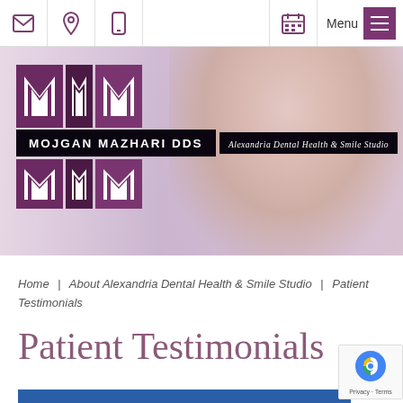Navigation bar with icons: email, location, phone, calendar, Menu
[Figure (logo): Hero banner with smiling woman background and Mojgan Mazhari DDS - Alexandria Dental Health & Smile Studio logo with MM monogram in purple blocks]
Home | About Alexandria Dental Health & Smile Studio | Patient Testimonials
Patient Testimonials